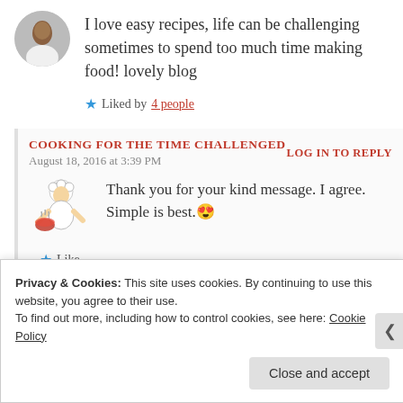I love easy recipes, life can be challenging sometimes to spend too much time making food! lovely blog
Liked by 4 people
COOKING FOR THE TIME CHALLENGED
August 18, 2016 at 3:39 PM
LOG IN TO REPLY
Thank you for your kind message. I agree. Simple is best. 😍
Like
Privacy & Cookies: This site uses cookies. By continuing to use this website, you agree to their use. To find out more, including how to control cookies, see here: Cookie Policy
Close and accept